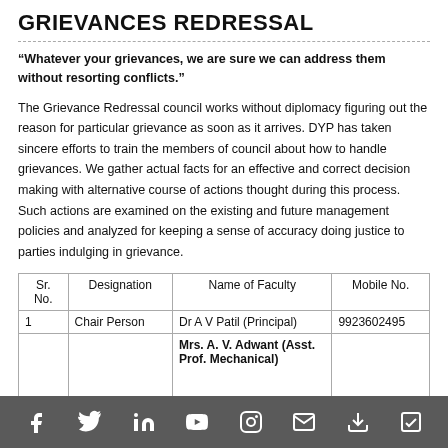GRIEVANCES REDRESSAL
"Whatever your grievances, we are sure we can address them without resorting conflicts."
The Grievance Redressal council works without diplomacy figuring out the reason for particular grievance as soon as it arrives. DYP has taken sincere efforts to train the members of council about how to handle grievances. We gather actual facts for an effective and correct decision making with alternative course of actions thought during this process. Such actions are examined on the existing and future management policies and analyzed for keeping a sense of accuracy doing justice to parties indulging in grievance.
| Sr. No. | Designation | Name of Faculty | Mobile No. |
| --- | --- | --- | --- |
| 1 | Chair Person | Dr A V Patil (Principal) | 9923602495 |
|  |  | Mrs. A. V. Adwant (Asst. Prof. Mechanical) |  |
Social media icons bar